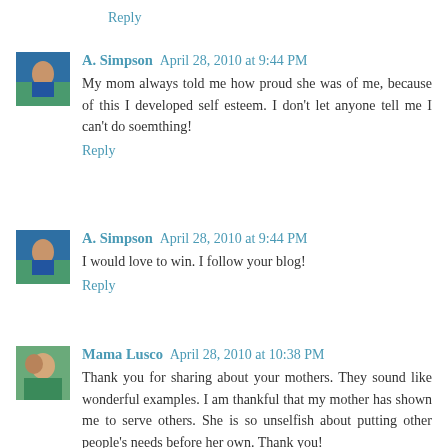Reply
A. Simpson April 28, 2010 at 9:44 PM
My mom always told me how proud she was of me, because of this I developed self esteem. I don't let anyone tell me I can't do soemthing!
Reply
A. Simpson April 28, 2010 at 9:44 PM
I would love to win. I follow your blog!
Reply
Mama Lusco April 28, 2010 at 10:38 PM
Thank you for sharing about your mothers. They sound like wonderful examples. I am thankful that my mother has shown me to serve others. She is so unselfish about putting other people's needs before her own. Thank you!